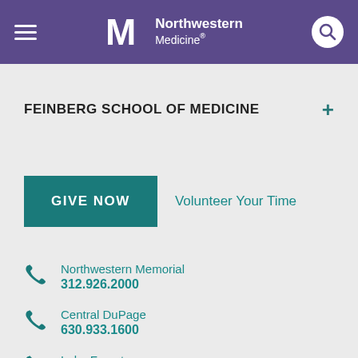Northwestern Medicine
FEINBERG SCHOOL OF MEDICINE
GIVE NOW
Volunteer Your Time
Northwestern Memorial
312.926.2000
Central DuPage
630.933.1600
Lake Forest